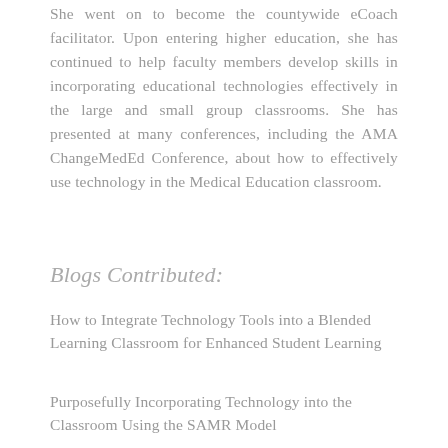She went on to become the countywide eCoach facilitator. Upon entering higher education, she has continued to help faculty members develop skills in incorporating educational technologies effectively in the large and small group classrooms. She has presented at many conferences, including the AMA ChangeMedEd Conference, about how to effectively use technology in the Medical Education classroom.
Blogs Contributed:
How to Integrate Technology Tools into a Blended Learning Classroom for Enhanced Student Learning
Purposefully Incorporating Technology into the Classroom Using the SAMR Model
Completing Face-To-Face Sup...